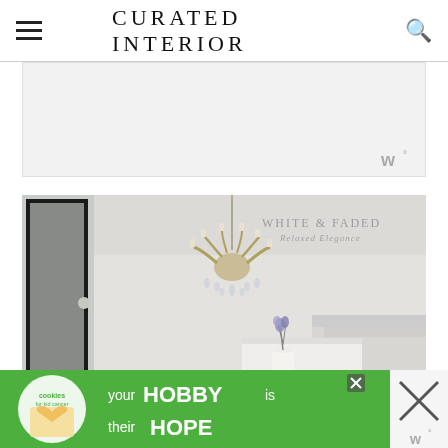CURATED INTERIOR
[Figure (other): Light grey advertisement placeholder box with a 'W' superscript logo in bottom right corner]
[Figure (photo): Interior room photo showing an ornate crystal chandelier hanging from white ceiling, with a dark framed mirror/door on the left, white furniture, and a vase of purple flowers. Watermark text 'WHITE & FADED - Relaxed Elegance' in upper right.]
[Figure (other): Green advertisement banner at bottom: cookies for kid cancer logo on left with cookie image, text 'your HOBBY is their HOPE' on green background, with X close button and W logo on right]